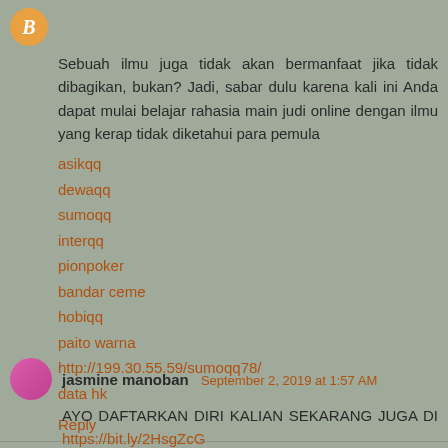Sebuah ilmu juga tidak akan bermanfaat jika tidak dibagikan, bukan? Jadi, sabar dulu karena kali ini Anda dapat mulai belajar rahasia main judi online dengan ilmu yang kerap tidak diketahui para pemula
asikqq
dewaqq
sumoqq
interqq
pionpoker
bandar ceme
hobiqq
paito warna
http://199.30.55.59/sumoqq78/
data hk
Reply
jasmine manoban September 2, 2019 at 1:57 AM
AYO DAFTARKAN DIRI KALIAN SEKARANG JUGA DI https://bit.ly/2HsgZcG